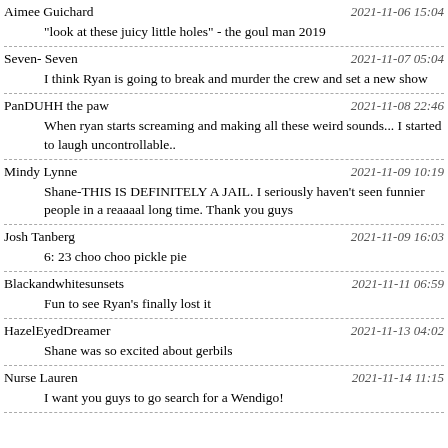Aimee Guichard | 2021-11-06 15:04
"look at these juicy little holes" - the goul man 2019
Seven- Seven | 2021-11-07 05:04
I think Ryan is going to break and murder the crew and set a new show
PanDUHH the paw | 2021-11-08 22:46
When ryan starts screaming and making all these weird sounds... I started to laugh uncontrollable..
Mindy Lynne | 2021-11-09 10:19
Shane-THIS IS DEFINITELY A JAIL. I seriously haven't seen funnier people in a reaaaal long time. Thank you guys
Josh Tanberg | 2021-11-09 16:03
6: 23 choo choo pickle pie
Blackandwhitesunsets | 2021-11-11 06:59
Fun to see Ryan's finally lost it
HazelEyedDreamer | 2021-11-13 04:02
Shane was so excited about gerbils
Nurse Lauren | 2021-11-14 11:15
I want you guys to go search for a Wendigo!